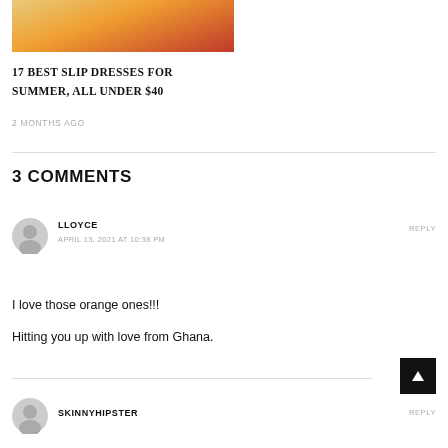[Figure (photo): Photo of a woman in an orange-red gradient slip dress]
17 BEST SLIP DRESSES FOR SUMMER, ALL UNDER $40
2 MONTHS AGO
3 COMMENTS
LLOYCE
APRIL 13, 2021 AT 10:38 PM
I love those orange ones!!!
Hitting you up with love from Ghana.
SKINNYHIPSTER